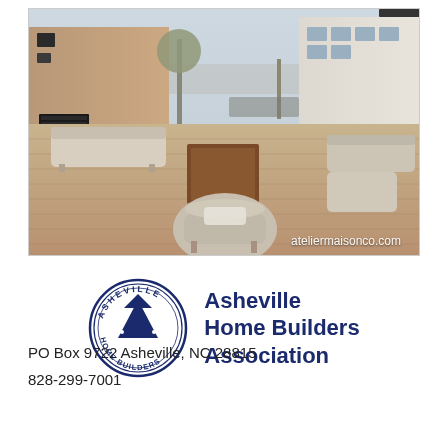[Figure (photo): Outdoor rooftop patio with modern furniture including sofas and chairs arranged around a rectangular wood fire table on a light wood deck, with commercial buildings in the background. Watermark reads 'ateliermaisonco.com'.]
[Figure (logo): Asheville Home Builders Association logo: circular seal with 'ASHEVILLE HOME BUILDERS' text around the border and a large letter A with house icon in the center, dark navy blue. Next to the logo is bold text: 'Asheville Home Builders Association'.]
PO Box 9722 Asheville, NC 28815
828-299-7001